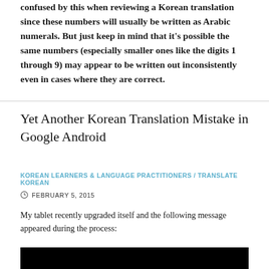confused by this when reviewing a Korean translation since these numbers will usually be written as Arabic numerals. But just keep in mind that it's possible the same numbers (especially smaller ones like the digits 1 through 9) may appear to be written out inconsistently even in cases where they are correct.
Yet Another Korean Translation Mistake in Google Android
KOREAN LEARNERS & LANGUAGE PRACTITIONERS / TRANSLATE KOREAN
FEBRUARY 5, 2015
My tablet recently upgraded itself and the following message appeared during the process:
[Figure (photo): Black image/screenshot area at the bottom of the page]